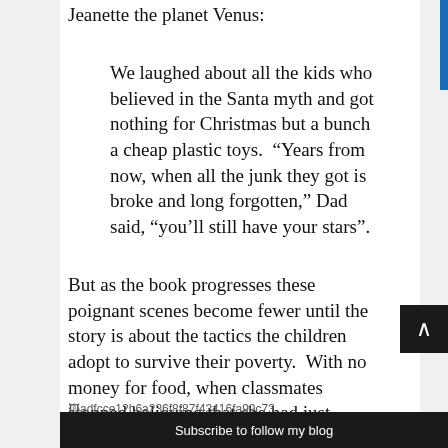Jeanette the planet Venus:
We laughed about all the kids who believed in the Santa myth and got nothing for Christmas but a bunch a cheap plastic toys.  “Years from now, when all the junk they got is broke and long forgotten,” Dad said, “you’ll still have your stars”.
But as the book progresses these poignant scenes become fewer until the story is about the tactics the children adopt to survive their poverty.  With no money for food, when classmates stopped believing that she had just forgotten her school lunch, Jeanette starts hiding in the
[Figure (other): Broken image placeholder with hash filename adfcce12b6a236f8f87f43416fa99c73]
Subscribe to follow my blog